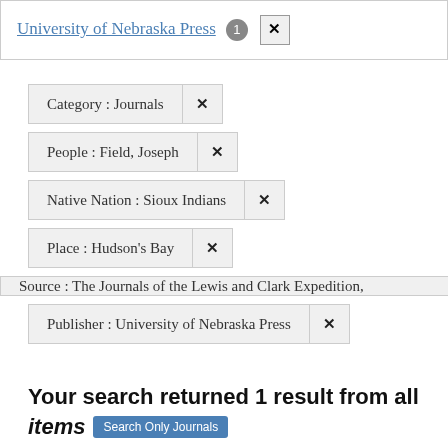University of Nebraska Press 1 ×
Category : Journals ×
People : Field, Joseph ×
Native Nation : Sioux Indians ×
Place : Hudson's Bay ×
Source : The Journals of the Lewis and Clark Expedition,
Publisher : University of Nebraska Press ×
Your search returned 1 result from all items